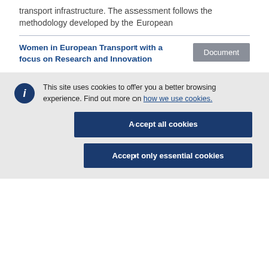transport infrastructure. The assessment follows the methodology developed by the European
Women in European Transport with a focus on Research and Innovation
Document
This site uses cookies to offer you a better browsing experience. Find out more on how we use cookies.
Accept all cookies
Accept only essential cookies